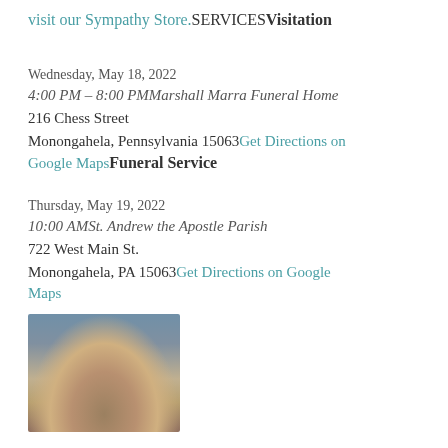visit our Sympathy Store.SERVICESVisitation
Wednesday, May 18, 2022
4:00 PM – 8:00 PMMarshall Marra Funeral Home
216 Chess Street
Monongahela, Pennsylvania 15063Get Directions on Google MapsFuneral Service
Thursday, May 19, 2022
10:00 AMSt. Andrew the Apostle Parish
722 West Main St.
Monongahela, PA 15063Get Directions on Google Maps
[Figure (photo): Partial photo of a person with light/blonde hair, cropped at the bottom of the page]